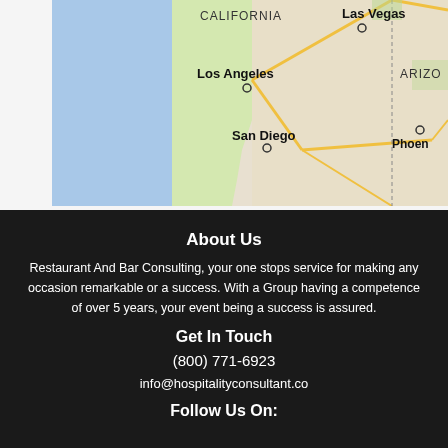[Figure (map): Google map showing southwestern United States including California, Nevada (Las Vegas), Arizona (Phoenix), with cities Los Angeles and San Diego labeled]
About Us
Restaurant And Bar Consulting, your one stops service for making any occasion remarkable or a success. With a Group having a competence of over 5 years, your event being a success is assured.
Get In Touch
(800) 771-6923
info@hospitalityconsultant.co
Follow Us On: